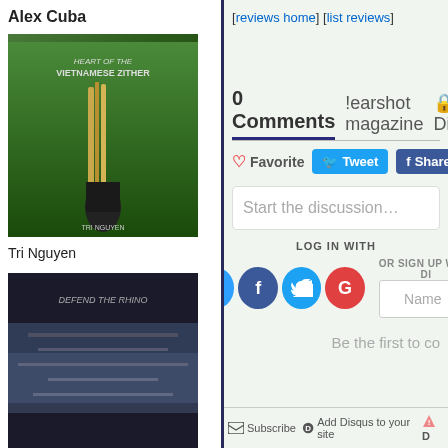Alex Cuba
[Figure (photo): Album cover: Heart of the Vietnamese Zither by Tri Nguyen - green background with person sitting]
Tri Nguyen
[Figure (photo): Album cover: Defend The Rhino - dark blue/purple tones]
Defend The Rhino
[Figure (photo): Album cover: Talltale - person with dark hair]
Talltale
[Figure (photo): Small logo image - football/trophy related]
[reviews home] [list reviews]
0 Comments
!earshot magazine
Disqus
Favorite
Tweet
Share
Start the discussion...
LOG IN WITH
OR SIGN UP WITH DI
Name
Be the first to co
Subscribe
Add Disqus to your site
D